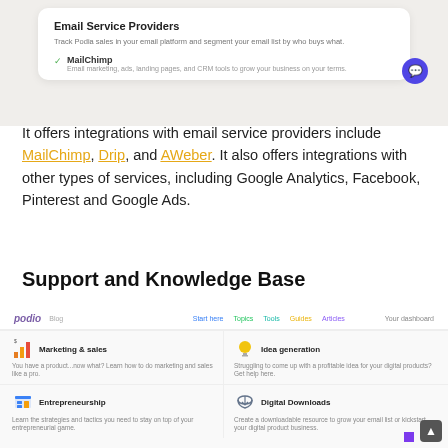[Figure (screenshot): Screenshot of Email Service Providers card from Podia showing MailChimp integration option with description text]
It offers integrations with email service providers include MailChimp, Drip, and AWeber. It also offers integrations with other types of services, including Google Analytics, Facebook, Pinterest and Google Ads.
Support and Knowledge Base
[Figure (screenshot): Screenshot of Podia blog page showing navigation with links (Start here, Topics, Tools, Guides, Articles, Your dashboard) and blog category cards: Marketing & sales, Idea generation, Entrepreneurship, Digital Downloads]